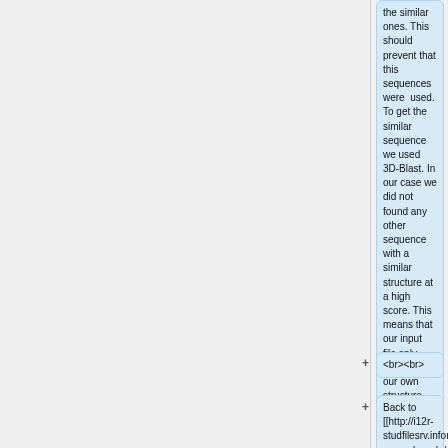the similar ones. This should prevent that this sequences were used. To get the similar sequence we used 3D-Blast. In our case we did not found any other sequence with a similar structure at a high score. This means that our input file only contained our own structure.
<br><br>
Back to [[http://i12r-studfilesrv.informatik.tu-muenchen.de/wiki/index.php/Tay-Sachs_Disease Tay-Sachs Disease]]